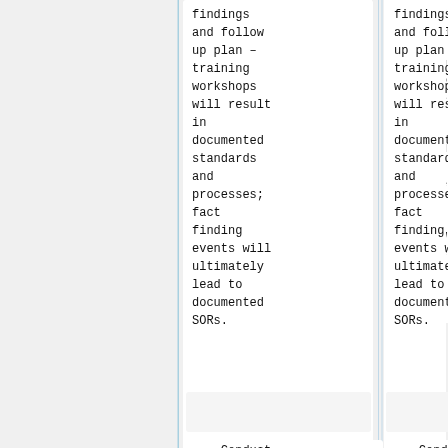findings and follow up plan – training workshops will result in documented standards and processes; fact finding events will ultimately lead to documented SORs.
findings and follow up plan – training workshops will result in documented standards and processes; fact finding events will ultimately lead to documented SORs.
====Conduct
====Conduct